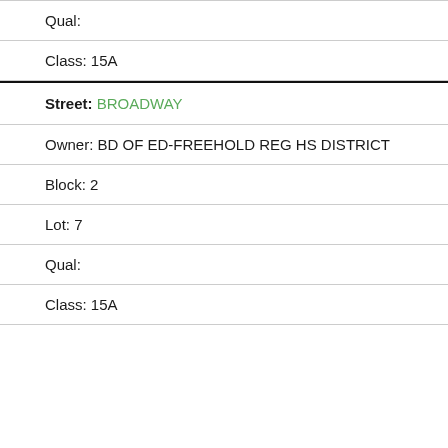Qual:
Class: 15A
Street: BROADWAY
Owner: BD OF ED-FREEHOLD REG HS DISTRICT
Block: 2
Lot: 7
Qual:
Class: 15A